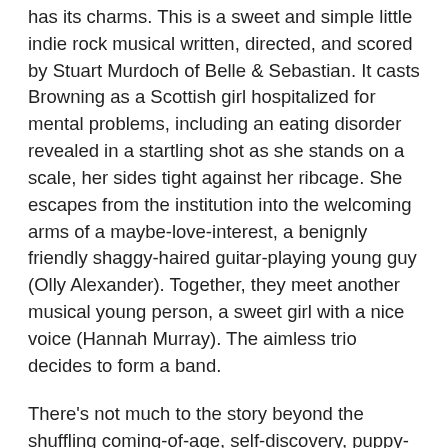has its charms. This is a sweet and simple little indie rock musical written, directed, and scored by Stuart Murdoch of Belle & Sebastian. It casts Browning as a Scottish girl hospitalized for mental problems, including an eating disorder revealed in a startling shot as she stands on a scale, her sides tight against her ribcage. She escapes from the institution into the welcoming arms of a maybe-love-interest, a benignly friendly shaggy-haired guitar-playing young guy (Olly Alexander). Together, they meet another musical young person, a sweet girl with a nice voice (Hannah Murray). The aimless trio decides to form a band.
There's not much to the story beyond the shuffling coming-of-age, self-discovery, puppy-love, let's-put-on-a-show tropes it so delicately and simply deploys. To Murdoch's credit, his directorial debut showcases (with cinematographer Giles Nuttgens) a fine eye for sun-dappled imagery and an even finer light touch when it comes to plotting. He's not hitting the emotional beats too terribly hard, trusting in his music and his performers to get the idea across. It's structured around simply staged musical sequences in which the actors turn towards the camera and pose in twee music video blocking